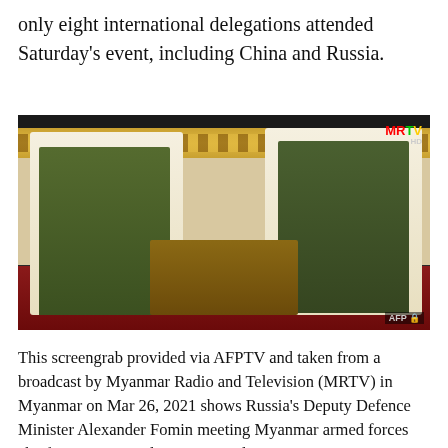only eight international delegations attended Saturday's event, including China and Russia.
[Figure (photo): Screengrab from MRTV broadcast showing two military officials in green uniforms seated in ornate white and gold chairs in a formal meeting room, facing each other across a wooden table. MRTV logo visible top right, AFP watermark bottom right.]
This screengrab provided via AFPTV and taken from a broadcast by Myanmar Radio and Television (MRTV) in Myanmar on Mar 26, 2021 shows Russia's Deputy Defence Minister Alexander Fomin meeting Myanmar armed forces chief Senior General Min Aung Hlaing in